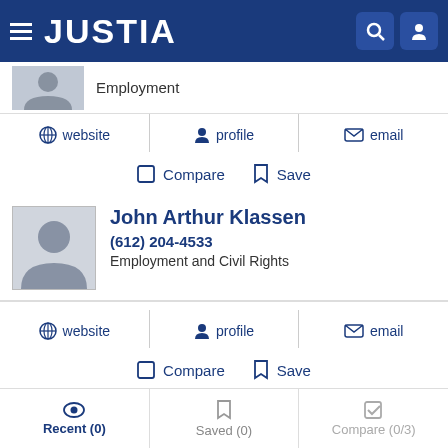JUSTIA
Employment
website  profile  email
Compare  Save
John Arthur Klassen
(612) 204-4533
Employment and Civil Rights
website  profile  email
Compare  Save
Recent (0)  Saved (0)  Compare (0/3)